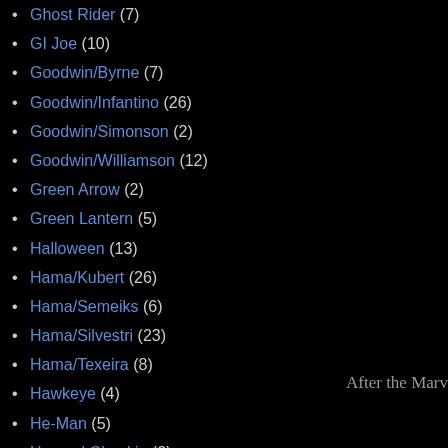Ghost Rider (7)
GI Joe (10)
Goodwin/Byrne (7)
Goodwin/Infantino (26)
Goodwin/Simonson (2)
Goodwin/Williamson (12)
Green Arrow (2)
Green Lantern (5)
Halloween (13)
Hama/Kubert (26)
Hama/Semeiks (6)
Hama/Silvestri (23)
Hama/Texeira (8)
Hawkeye (4)
He-Man (5)
Howard Chaykin (2)
Howard Mackie (14)
Hulk (13)
Ian Churchill (1)
Incredible Hulk (9)
Iron Man (12)
J.M. DeMatteis (7)
After the Marv